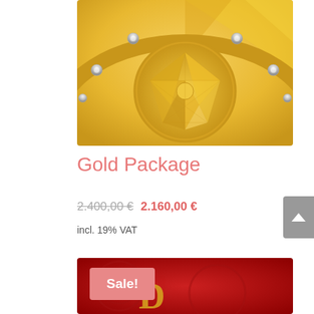[Figure (illustration): Gold decorative circular medallion with geometric diamond-cut pattern, surrounded by a gold ring with diamond accents on a golden background]
Gold Package
2.400,00 € 2.160,00 €
incl. 19% VAT
[Figure (illustration): Red decorative background with Sale! badge overlay and partial gold decorative elements]